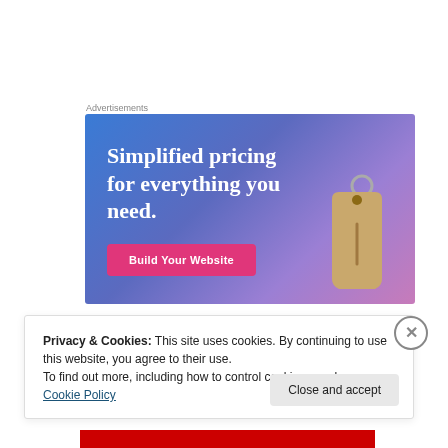Advertisements
[Figure (illustration): Advertisement banner with blue-to-purple gradient background, white serif text reading 'Simplified pricing for everything you need.', a pink 'Build Your Website' button, and a price tag illustration on the right side.]
Privacy & Cookies: This site uses cookies. By continuing to use this website, you agree to their use.
To find out more, including how to control cookies, see here: Cookie Policy
Close and accept